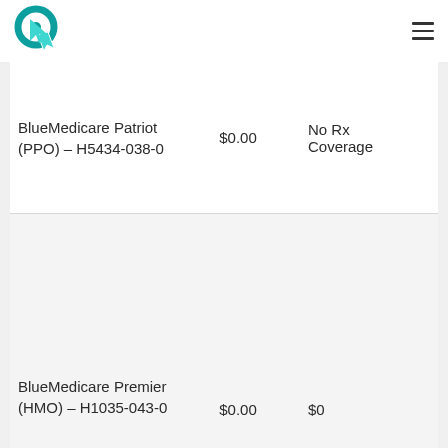[Figure (logo): Circular teal logo with cursor arrow icon]
| Plan | Premium | Rx Coverage |
| --- | --- | --- |
| BlueMedicare Patriot (PPO) – H5434-038-0 | $0.00 | No Rx Coverage |
| BlueMedicare Premier (HMO) – H1035-043-0 | $0.00 | $0 |